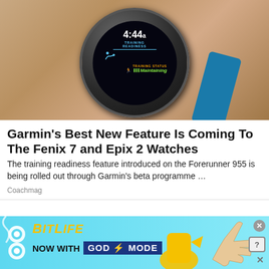[Figure (photo): Garmin smartwatch with blue band showing training readiness and training status 'Maintaining' on a wooden surface]
Garmin's Best New Feature Is Coming To The Fenix 7 and Epix 2 Watches
The training readiness feature introduced on the Forerunner 955 is being rolled out through Garmin's beta programme …
Coachmag
[Figure (screenshot): BitLife advertisement banner: BitLife NOW WITH GOD MODE, with hand pointing gestures]